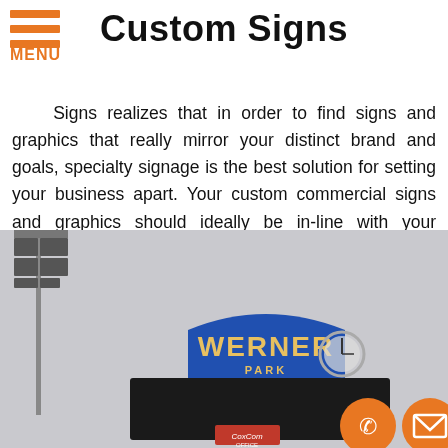MENU
Custom Signs
Signs realizes that in order to find signs and graphics that really mirror your distinct brand and goals, specialty signage is the best solution for setting your business apart. Your custom commercial signs and graphics should ideally be in-line with your business timeframe, location, and goals.
[Figure (photo): Photo of Werner Park scoreboard sign mounted on a black scoreboard structure. A tall light pole is visible on the left. Two orange circular buttons (phone and email) overlay the bottom right corner. A CoxCom Office sign is visible at the bottom center.]